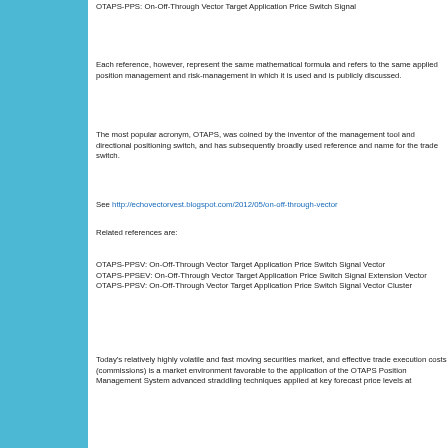OTAPS-PPS: On-Off-Through Vector Target Application Price Switch Signal
Each reference, however, represent the same mathematical formula and refers to the same applied position management and risk-management in which it is used and is publicly discussed.
The most popular acronym, OTAPS, was coined by the inventor of the management tool and directional positioning switch, and has subsequently broadly used reference and name for the trade switch.
See http://echovectorvest.blogspot.com/2012/05/on-off-through-vector
Related references are:
OTAPS-PPSV: On-Off-Through Vector Target Application Price Switch Signal Vector
OTAPS-PPSEV: On-Off-Through Vector Target Application Price Switch Signal Extension Vector
OTAPS-PPSV: On-Off-Through Vector Target Application Price Switch Signal Vector Cluster
Today's relatively highly volatile and fast moving securities market, and effective trade execution costs (commissions) is a market environment favorable to the application of the OTAPS Position Management System advanced straddling techniques applied at key forecast price levels at